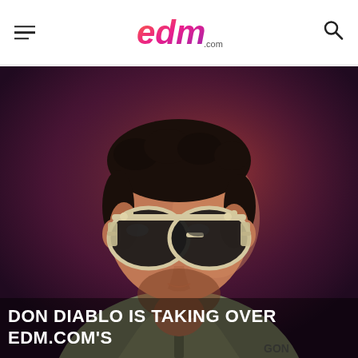edm.com
[Figure (photo): Portrait photo of Don Diablo, a man with curly dark hair, wearing stylish large aviator sunglasses with white frames and side shields, and a light-colored zip-up jacket, posed against a dark purple/burgundy studio background with warm lighting on his face.]
DON DIABLO IS TAKING OVER EDM.COM'S